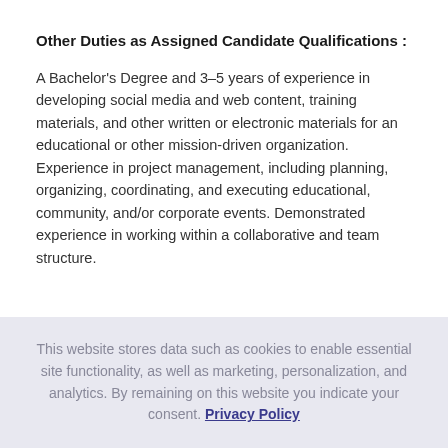Other Duties as Assigned
Candidate Qualifications :
A Bachelor's Degree and 3–5 years of experience in developing social media and web content, training materials, and other written or electronic materials for an educational or other mission-driven organization. Experience in project management, including planning, organizing, coordinating, and executing educational, community, and/or corporate events. Demonstrated experience in working within a collaborative and team structure.
This website stores data such as cookies to enable essential site functionality, as well as marketing, personalization, and analytics. By remaining on this website you indicate your consent. Privacy Policy